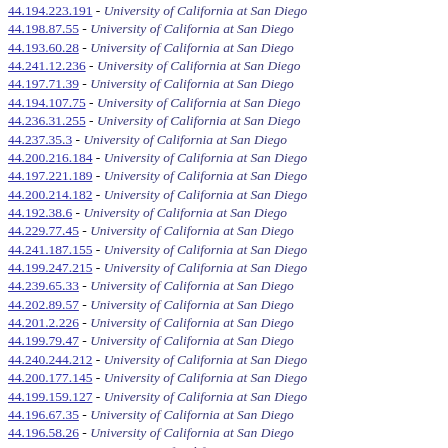44.194.223.191 - University of California at San Diego
44.198.87.55 - University of California at San Diego
44.193.60.28 - University of California at San Diego
44.241.12.236 - University of California at San Diego
44.197.71.39 - University of California at San Diego
44.194.107.75 - University of California at San Diego
44.236.31.255 - University of California at San Diego
44.237.35.3 - University of California at San Diego
44.200.216.184 - University of California at San Diego
44.197.221.189 - University of California at San Diego
44.200.214.182 - University of California at San Diego
44.192.38.6 - University of California at San Diego
44.229.77.45 - University of California at San Diego
44.241.187.155 - University of California at San Diego
44.199.247.215 - University of California at San Diego
44.239.65.33 - University of California at San Diego
44.202.89.57 - University of California at San Diego
44.201.2.226 - University of California at San Diego
44.199.79.47 - University of California at San Diego
44.240.244.212 - University of California at San Diego
44.200.177.145 - University of California at San Diego
44.199.159.127 - University of California at San Diego
44.196.67.35 - University of California at San Diego
44.196.58.26 - University of California at San Diego
44.193.232.200 - University of California at San Diego
44.201.10.234 - University of California at San Diego
44.197.247.215 - University of California at San Diego
44.199.183.151 - University of California at San Diego
44.193.210.178 - University of California at San Diego
44.225.57.25 - University of California at San Diego